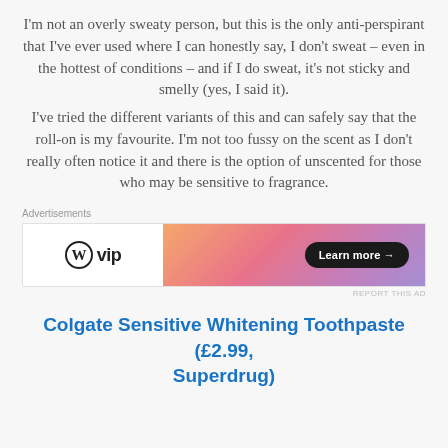I'm not an overly sweaty person, but this is the only anti-perspirant that I've ever used where I can honestly say, I don't sweat – even in the hottest of conditions – and if I do sweat, it's not sticky and smelly (yes, I said it). I've tried the different variants of this and can safely say that the roll-on is my favourite. I'm not too fussy on the scent as I don't really often notice it and there is the option of unscented for those who may be sensitive to fragrance.
[Figure (other): Advertisement banner with WordPress VIP logo on the left and a gradient orange-pink-purple background on the right with a 'Learn more →' button]
Colgate Sensitive Whitening Toothpaste (£2.99, Superdrug)